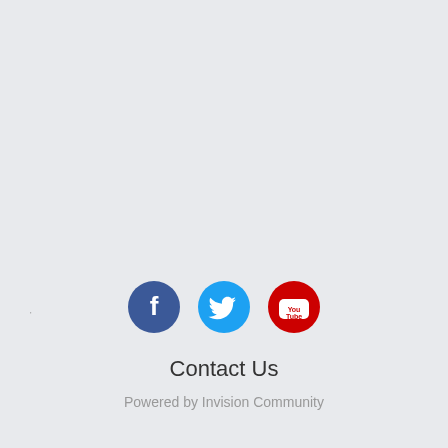'
[Figure (illustration): Three social media icon circles: Facebook (dark blue with white F), Twitter (light blue with white bird), YouTube (red with white play button labeled Tube)]
Contact Us
Powered by Invision Community